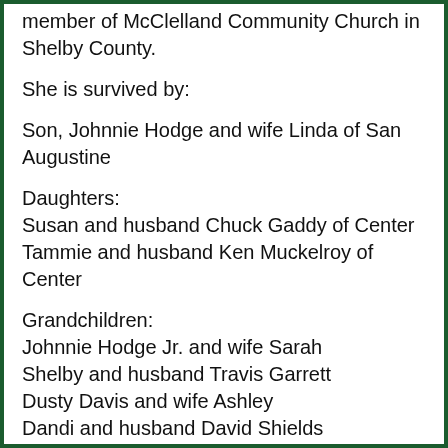member of McClelland Community Church in Shelby County.
She is survived by:
Son, Johnnie Hodge and wife Linda of San Augustine
Daughters:
Susan and husband Chuck Gaddy of Center
Tammie and husband Ken Muckelroy of Center
Grandchildren:
Johnnie Hodge Jr. and wife Sarah
Shelby and husband Travis Garrett
Dusty Davis and wife Ashley
Dandi and husband David Shields
Madison and husband Austin Whitney
Tyler Muckelroy and wife Alexis
Abbie Muckelroy